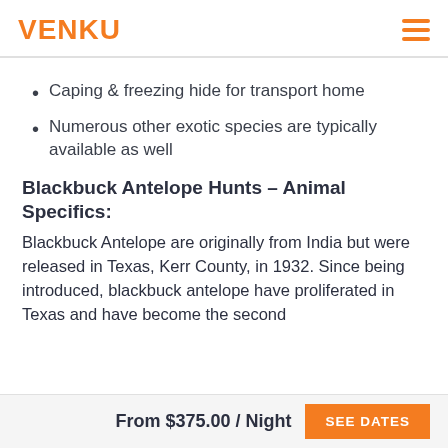VENKU
Caping & freezing hide for transport home
Numerous other exotic species are typically available as well
Blackbuck Antelope Hunts – Animal Specifics:
Blackbuck Antelope are originally from India but were released in Texas, Kerr County, in 1932. Since being introduced, blackbuck antelope have proliferated in Texas and have become the second
From $375.00 / Night   SEE DATES